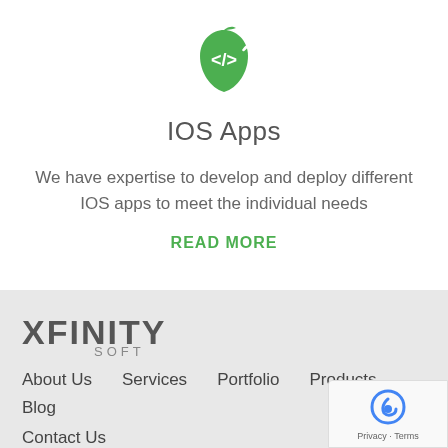[Figure (logo): Green Apple logo with code brackets symbol]
IOS Apps
We have expertise to develop and deploy different IOS apps to meet the individual needs
READ MORE
[Figure (logo): Xfinity Soft logo in gray stylized text]
About Us   Services   Portfolio   Products   Blog   Contact Us
[Figure (other): reCAPTCHA badge with Privacy and Terms]